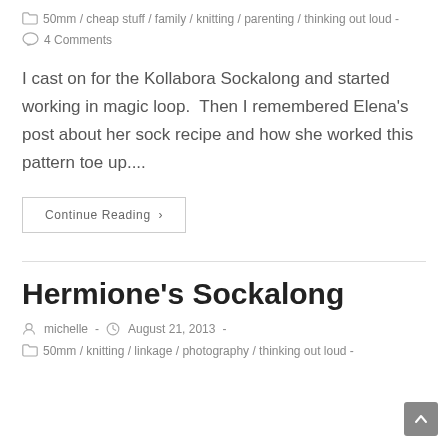50mm / cheap stuff / family / knitting / parenting / thinking out loud -
4 Comments
I cast on for the Kollabora Sockalong and started working in magic loop.  Then I remembered Elena's post about her sock recipe and how she worked this pattern toe up....
Continue Reading ›
Hermione's Sockalong
michelle - August 21, 2013 -
50mm / knitting / linkage / photography / thinking out loud -